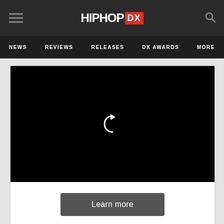HIPHOP DX
NEWS  REVIEWS  RELEASES  DX AWARDS  MORE
[Figure (screenshot): Black video player area with a white replay/refresh icon in the center]
Learn more
In-store shopping